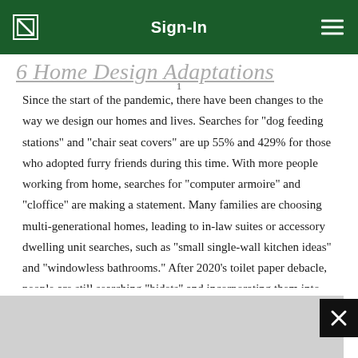Sign-In
Since the start of the pandemic, there have been changes to the way we design our homes and lives. Searches for "dog feeding stations" and "chair seat covers" are up 55% and 429% for those who adopted furry friends during this time. With more people working from home, searches for "computer armoire" and "cloffice" are making a statement. Many families are choosing multi-generational homes, leading to in-law suites or accessory dwelling unit searches, such as "small single-wall kitchen ideas" and "windowless bathrooms." After 2020's toilet paper debacle, people are still searching "bidets" and incorporating them into